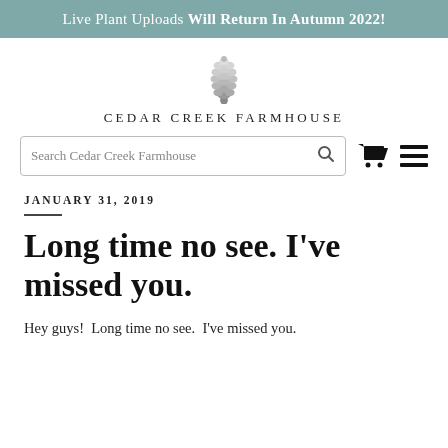Live Plant Uploads Will Return In Autumn 2022!
[Figure (logo): Cedar Creek Farmhouse pinecone logo with site name CEDAR CREEK FARMHOUSE]
[Figure (screenshot): Search bar with text 'Search Cedar Creek Farmhouse' and a search icon, plus cart and hamburger menu icons]
JANUARY 31, 2019
Long time no see. I've missed you.
Hey guys!  Long time no see.  I've missed you.